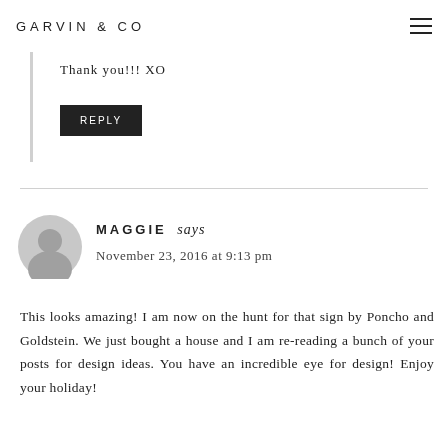GARVIN & CO
Thank you!!! XO
REPLY
MAGGIE says
November 23, 2016 at 9:13 pm
This looks amazing! I am now on the hunt for that sign by Poncho and Goldstein. We just bought a house and I am re-reading a bunch of your posts for design ideas. You have an incredible eye for design! Enjoy your holiday!